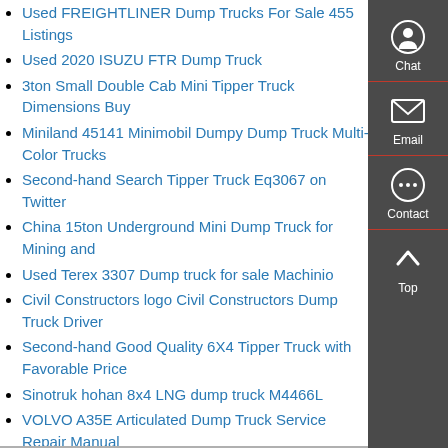Used FREIGHTLINER Dump Trucks For Sale 455 Listings
Used 2020 ISUZU FTR Dump Truck
3ton Small Double Cab Mini Tipper Truck Dimensions Buy
Miniland 45141 Minimobil Dumpy Dump Truck Multi-Color Trucks
Second-hand Search Tipper Truck Eq3067 on Twitter
China 15ton Underground Mini Dump Truck for Mining and
Used Terex 3307 Dump truck for sale Machinio
Civil Constructors logo Civil Constructors Dump Truck Driver
Second-hand Good Quality 6X4 Tipper Truck with Favorable Price
Sinotruk hohan 8x4 LNG dump truck M4466L
VOLVO A35E Articulated Dump Truck Service Repair Manual
Chinese China Beibien 6X4 Tractor Truck with Low Price
Hot Sale BEIBEN Tipper Truck Price 6x4 10 wheeler Dump
Used 2008 INTERNATIONAL DURASTAR 4300 Dump Truck
MukikiM YH559-9C Construct A Truck Dump 1 Kroger
[Figure (infographic): Right-side vertical dark gray sidebar with Chat, Email, and Contact buttons, each with an icon and a red separator line, plus a Top arrow button at the bottom.]